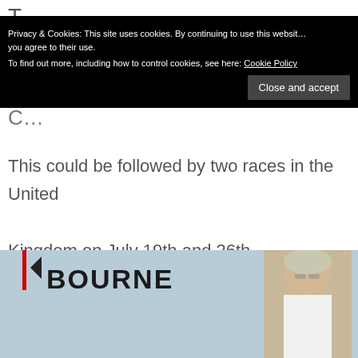T... a...
C...
This could be followed by two races in the United Kingdom on July 19th and 26th.
[Figure (photo): Photo of a person in front of a Melbourne sign/banner with a red accent bar on the left. Partially visible text reads BOURNE with a dark triangle logo.]
Privacy & Cookies: This site uses cookies. By continuing to use this website, you agree to their use. To find out more, including how to control cookies, see here: Cookie Policy
Close and accept